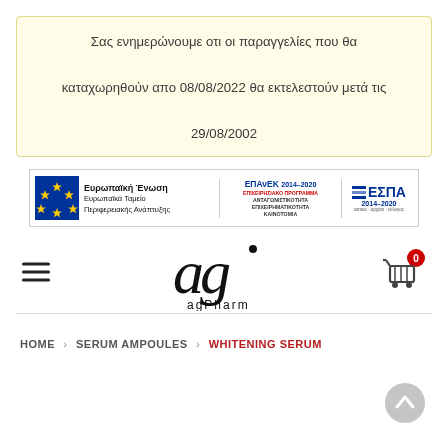Σας ενημερώνουμε οτι οι παραγγελίες που θα καταχωρηθούν απο 08/08/2022 θα εκτελεστούν μετά τις 29/08/2002
[Figure (logo): EU funding banner with European Union flag, Ευρωπαϊκή Ένωση / Ευρωπαϊκά Ταμείο Περιφερειακής Ανάπτυξης, ΕΠΑνΕΚ 2014-2020 ΕΠΙΧΕΙΡΗΣΙΑΚΟ ΠΡΟΓΡΑΜΜΑ ΑΝΤΑΓΩΝΙΣΤΙΚΟΤΗΤΑ ΕΠΙΧΕΙΡΗΜΑΤΙΚΟΤΗΤΑ ΚΑΙΝΟΤΟΜΙΑ, ΕΣΠΑ 2014-2020]
[Figure (logo): agPharm logo — stylized 'ag' lettering with agPharm text below]
[Figure (other): Hamburger menu icon (three horizontal lines) on left side of navigation bar]
[Figure (other): Shopping cart icon with red badge showing '0' on right side of navigation bar]
HOME > SERUM AMPOULES > WHITENING SERUM
[Figure (other): Scroll-to-top circular button with upward arrow, grey color, bottom right corner]